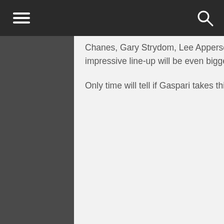Chanes, Gary Strydom, Lee Apperson, Bill Wilmore and Lawrence Hunt are competing. An impressive line-up will be even bigger if Gaspari jumped on board.
Only time will tell if Gaspari takes this comeback all the way.